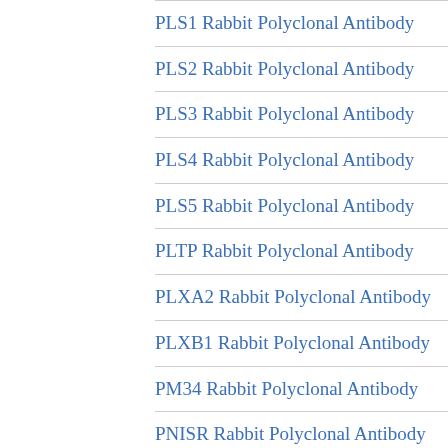PLS1 Rabbit Polyclonal Antibody
PLS2 Rabbit Polyclonal Antibody
PLS3 Rabbit Polyclonal Antibody
PLS4 Rabbit Polyclonal Antibody
PLS5 Rabbit Polyclonal Antibody
PLTP Rabbit Polyclonal Antibody
PLXA2 Rabbit Polyclonal Antibody
PLXB1 Rabbit Polyclonal Antibody
PM34 Rabbit Polyclonal Antibody
PNISR Rabbit Polyclonal Antibody
PNKD Rabbit Polyclonal Antibody
Polyclonal AntibodyP2 Rabbit Polyclonal Antibody